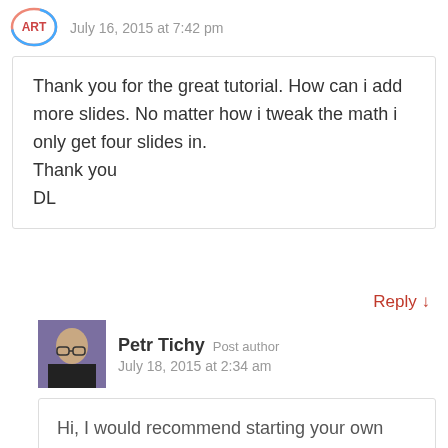July 16, 2015 at 7:42 pm
Thank you for the great tutorial. How can i add more slides. No matter how i tweak the math i only get four slides in.
Thank you
DL
Reply ↓
Petr Tichy  Post author
July 18, 2015 at 2:34 am
Hi, I would recommend starting your own project from scratch based on what you've learned in this tutorial. That way you would understand every single line and could do you